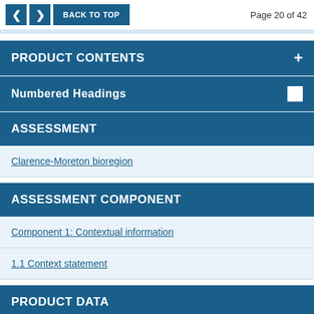BACK TO TOP   Page 20 of 42
PRODUCT CONTENTS
Numbered Headings
ASSESSMENT
Clarence-Moreton bioregion
ASSESSMENT COMPONENT
Component 1: Contextual information
1.1 Context statement
PRODUCT DATA